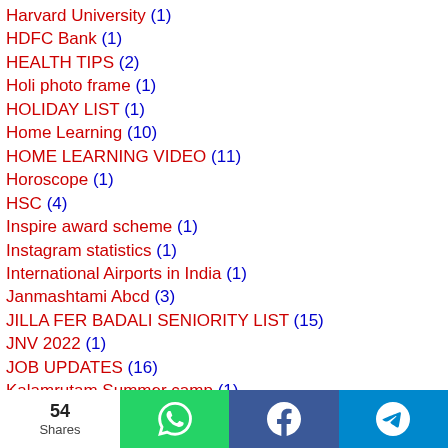Harvard University (1)
HDFC Bank (1)
HEALTH TIPS (2)
Holi photo frame (1)
HOLIDAY LIST (1)
Home Learning (10)
HOME LEARNING VIDEO (11)
Horoscope (1)
HSC (4)
Inspire award scheme (1)
Instagram statistics (1)
International Airports in India (1)
Janmashtami Abcd (3)
JILLA FER BADALI SENIORITY LIST (15)
JNV 2022 (1)
JOB UPDATES (16)
Kalamrutam Summer camp (1)
54 Shares